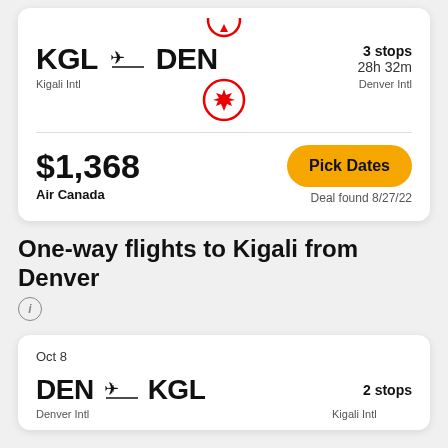[Figure (screenshot): Flight search result card showing KGL to DEN route with Air Canada, 3 stops, 28h 32m, price $1,368, Pick Dates button, Deal found 8/27/22]
One-way flights to Kigali from Denver
[Figure (screenshot): Flight search result card showing DEN to KGL route on Oct 8, 2 stops, Denver Intl to Kigali Intl]